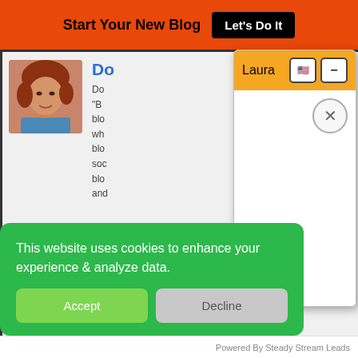Start Your New Blog  Let's Do It
[Figure (screenshot): Partially visible blog page with profile photo of a woman with short red hair, blue name link starting with 'Do', and partial body text about blogging and social media]
[Figure (screenshot): Chat popup overlay with orange header showing name 'Laura', two icon buttons (flag and minus), a white body area with an X close button circle]
This website uses cookies to enhance your experience & analyze data.
Accept   Decline
Powered By Steady Stream Leads